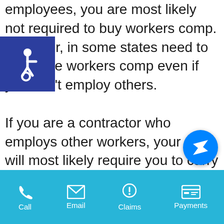employees, you are most likely not required to buy workers comp. However, in some states need to purchase workers comp even if you don't employ others.

If you are a contractor who employs other workers, your state will most likely require you to carry this insurance. This policy protects workers from job-related illness, injury or death. It will also reimburse workers for lost wages if they cannot go back to work. The benefit to you, as the employer, is that this coverage help to prevent losses from employee lawsuits.
[Figure (logo): Accessibility icon (wheelchair symbol) in white on dark blue background]
[Figure (logo): Facebook Messenger icon (blue circle with white lightning bolt chat symbol)]
Call  Email  Claims  Payments